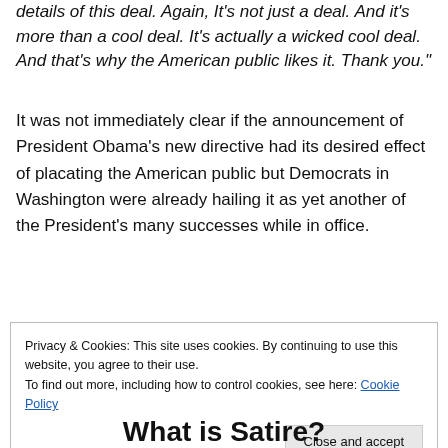details of this deal. Again, It's not just a deal. And it's more than a cool deal. It's actually a wicked cool deal. And that's why the American public likes it. Thank you."
It was not immediately clear if the announcement of President Obama's new directive had its desired effect of placating the American public but Democrats in Washington were already hailing it as yet another of the President's many successes while in office.
Privacy & Cookies: This site uses cookies. By continuing to use this website, you agree to their use.
To find out more, including how to control cookies, see here: Cookie Policy
What is Satire?